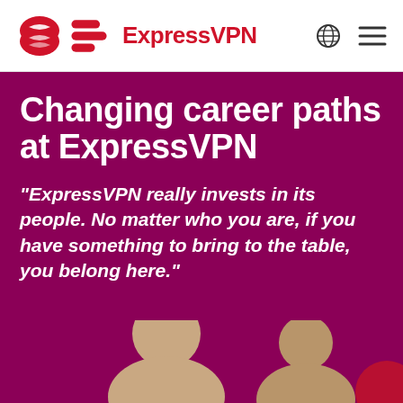ExpressVPN
Changing career paths at ExpressVPN
“ExpressVPN really invests in its people. No matter who you are, if you have something to bring to the table, you belong here.”
[Figure (photo): Partial view of person(s) at the bottom of the purple/maroon background section]